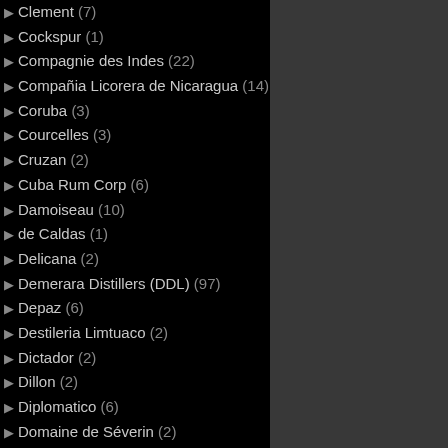Clement (7)
Cockspur (1)
Compagnie des Indes (22)
Compañia Licorera de Nicaragua (14)
Coruba (3)
Courcelles (3)
Cruzan (2)
Cuba Rum Corp (6)
Damoiseau (10)
de Caldas (1)
Delicana (2)
Demerara Distillers (DDL) (97)
Depaz (6)
Destileria Limtuaco (2)
Dictador (2)
Dillon (2)
Diplomatico (6)
Domaine de Séverin (2)
Don Q (1)